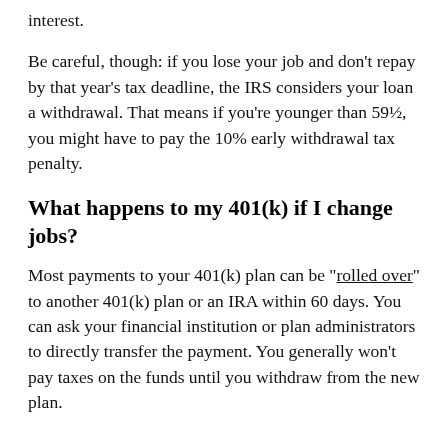interest.
Be careful, though: if you lose your job and don't repay by that year's tax deadline, the IRS considers your loan a withdrawal. That means if you're younger than 59½, you might have to pay the 10% early withdrawal tax penalty.
What happens to my 401(k) if I change jobs?
Most payments to your 401(k) plan can be "rolled over" to another 401(k) plan or an IRA within 60 days. You can ask your financial institution or plan administrators to directly transfer the payment. You generally won't pay taxes on the funds until you withdraw from the new plan.